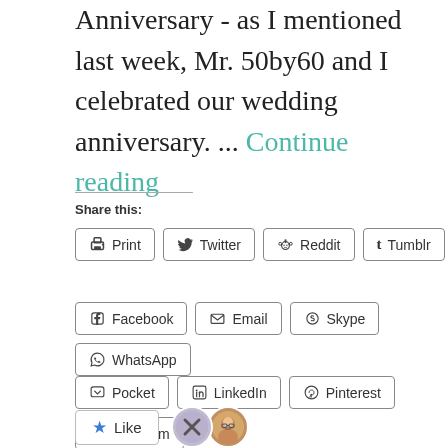Anniversary - as I mentioned last week, Mr. 50by60 and I celebrated our wedding anniversary. ... Continue reading
Share this:
Print | Twitter | Reddit | Tumblr | Facebook | Email | Skype | WhatsApp | Pocket | LinkedIn | Pinterest | Telegram
Like
2 bloggers like this.